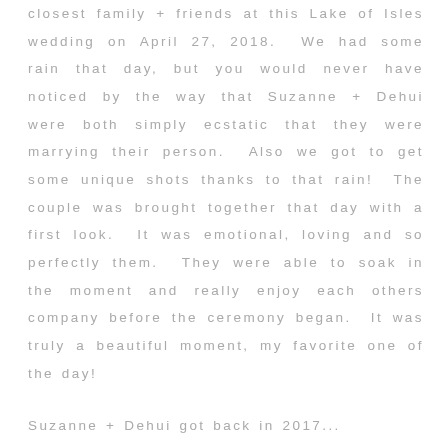closest family + friends at this Lake of Isles wedding on April 27, 2018.  We had some rain that day, but you would never have noticed by the way that Suzanne + Dehui were both simply ecstatic that they were marrying their person.  Also we got to get some unique shots thanks to that rain!  The couple was brought together that day with a first look.  It was emotional, loving and so perfectly them.  They were able to soak in the moment and really enjoy each others company before the ceremony began.  It was truly a beautiful moment, my favorite one of the day!
Suzanne + Dehui got back in 2017...